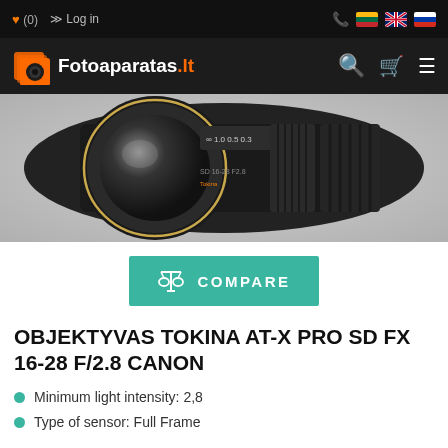Fotoaparatas.lt – (0) Log in
[Figure (photo): Close-up photo of a Tokina AT-X PRO SD FX 16-28 F/2.8 camera lens against a white background]
COMPARE
OBJEKTYVAS TOKINA AT-X PRO SD FX 16-28 F/2.8 CANON
Minimum light intensity: 2,8
Type of sensor: Full Frame